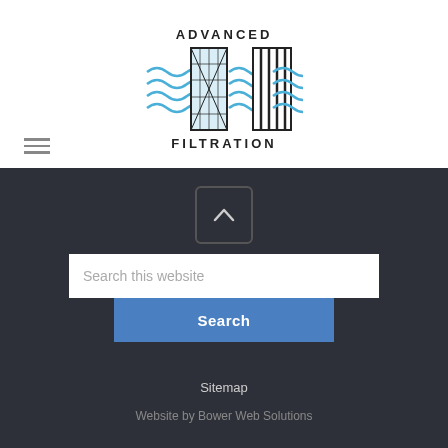[Figure (logo): Advanced Filtration logo with two filter panels and blue wavy water lines, text ADVANCED above and FILTRATION below]
[Figure (other): Hamburger menu icon (three horizontal lines)]
[Figure (other): Scroll to top button with upward caret arrow]
Search this website
Search
Sitemap
Website by Bower Web Solutions